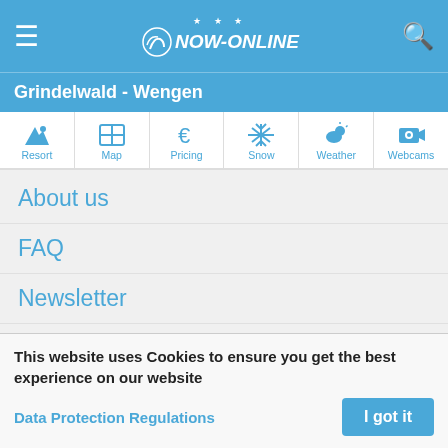NOW-ONLINE
Grindelwald - Wengen
[Figure (screenshot): Navigation icon bar with Resort, Map, Pricing, Snow, Weather, Webcams tabs]
About us
FAQ
Newsletter
Surveys
Evaluate a Ski Resort
This website uses Cookies to ensure you get the best experience on our website
Data Protection Regulations
I got it